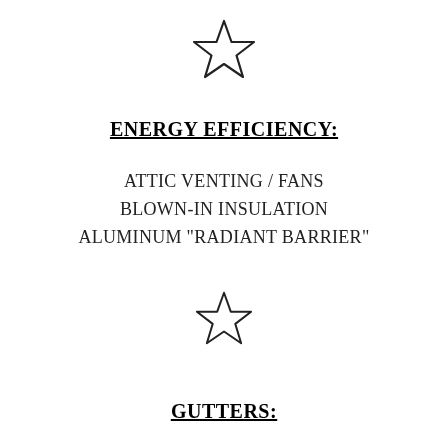[Figure (illustration): Outline star icon, centered near top of page]
ENERGY EFFICIENCY:
ATTIC VENTING / FANS
BLOWN-IN INSULATION
ALUMINUM "RADIANT BARRIER"
[Figure (illustration): Outline star icon, centered in lower middle of page]
GUTTERS: